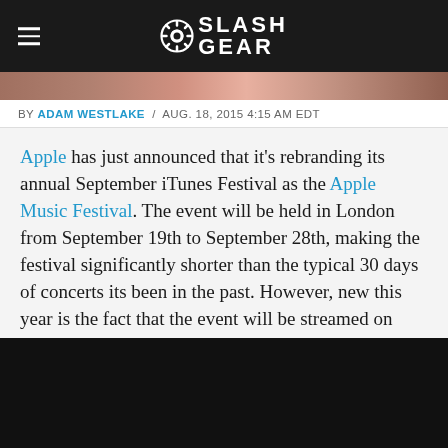SlashGear
[Figure (photo): Photo strip showing people at a concert or event]
BY ADAM WESTLAKE / AUG. 18, 2015 4:15 AM EDT
Apple has just announced that it's rebranding its annual September iTunes Festival as the Apple Music Festival. The event will be held in London from September 19th to September 28th, making the festival significantly shorter than the typical 30 days of concerts its been in the past. However, new this year is the fact that the event will be streamed on Apple Music, in addition to coverage on Beats 1 Radio and performing artists' pages on Apple Music Connect.
[Figure (photo): Dark/black image area at bottom of page]